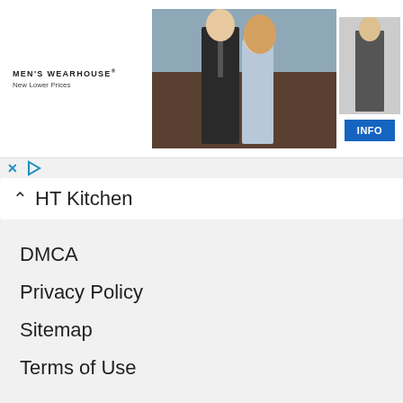[Figure (photo): Men's Wearhouse advertisement banner with couple in formal wear and a man in a suit, with INFO button]
HT Kitchen
DMCA
Privacy Policy
Sitemap
Terms of Use
RECENT POSTS
How To Use Liquid Smoke?
How Long To Smoke A Turkey?
How To Smoke A Turkey In An Electric